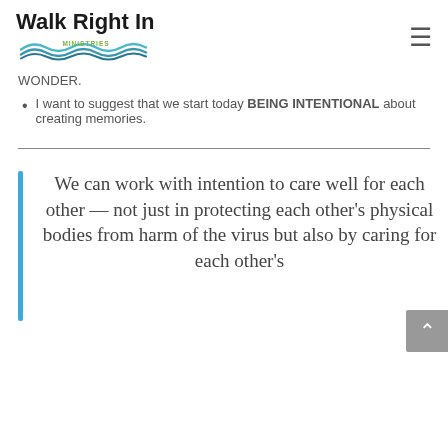Walk Right In Ministries
WONDER.
I want to suggest that we start today BEING INTENTIONAL about creating memories.
We can work with intention to care well for each other — not just in protecting each other's physical bodies from harm of the virus but also by caring for each other's